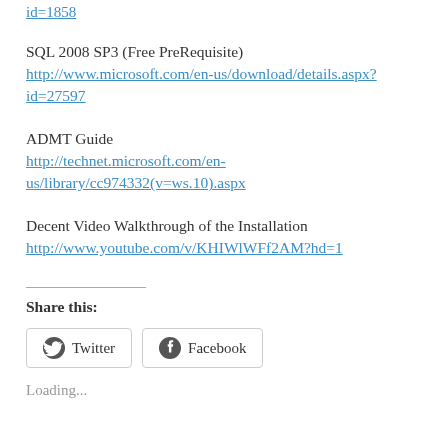id=1858
SQL 2008 SP3 (Free PreRequisite)
http://www.microsoft.com/en-us/download/details.aspx?id=27597
ADMT Guide
http://technet.microsoft.com/en-us/library/cc974332(v=ws.10).aspx
Decent Video Walkthrough of the Installation
http://www.youtube.com/v/KHIWlWFf2AM?hd=1
Share this:
Twitter  Facebook
Loading...